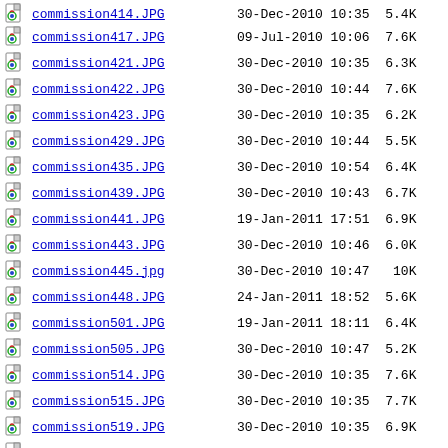commission414.JPG  30-Dec-2010 10:35  5.4K
commission417.JPG  09-Jul-2010 10:06  7.6K
commission421.JPG  30-Dec-2010 10:35  6.3K
commission422.JPG  30-Dec-2010 10:44  7.6K
commission423.JPG  30-Dec-2010 10:35  6.2K
commission429.JPG  30-Dec-2010 10:44  5.5K
commission435.JPG  30-Dec-2010 10:54  6.4K
commission439.JPG  30-Dec-2010 10:43  6.7K
commission441.JPG  19-Jan-2011 17:51  6.9K
commission443.JPG  30-Dec-2010 10:46  6.0K
commission445.jpg  30-Dec-2010 10:47  10K
commission448.JPG  24-Jan-2011 18:52  5.6K
commission501.JPG  19-Jan-2011 18:11  6.4K
commission505.JPG  30-Dec-2010 10:47  5.2K
commission514.JPG  30-Dec-2010 10:35  7.6K
commission515.JPG  30-Dec-2010 10:35  7.7K
commission519.JPG  30-Dec-2010 10:35  6.9K
commission521.JPG  30-Dec-2010 10:35  5.8K